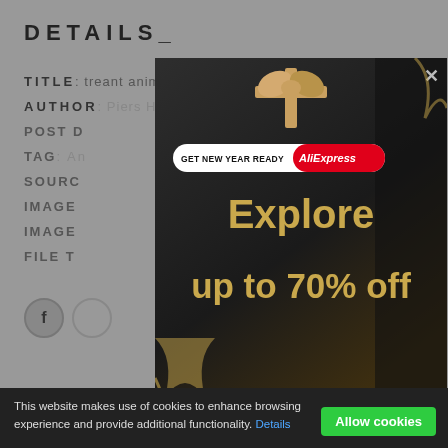DETAILS_
TITLE: treant animated gifs scary castles
AUTHOR: Piers Hodges
POST D[ATE: ...]
TAG: An[imated ...]
SOURC[E: ...]
IMAGE [...]
IMAGE [...]
FILE T[YPE: ...]
[Figure (screenshot): AliExpress advertisement popup overlay with dark background showing a gift box, 'GET NEW YEAR READY AliExpress' badge, and text 'Explore up to 70% off' in gold letters. Has a close (x) button in top right corner.]
This website makes use of cookies to enhance browsing experience and provide additional functionality. Details
Allow cookies